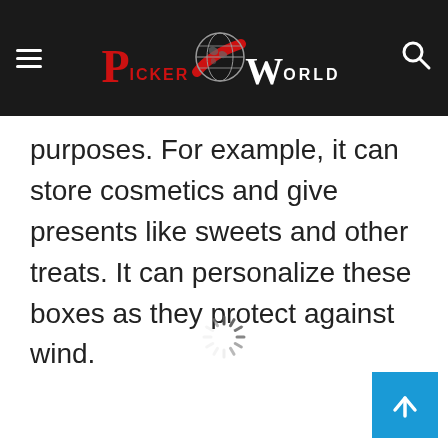Picker World (website header with logo and navigation)
purposes. For example, it can store cosmetics and give presents like sweets and other treats. It can personalize these boxes as they protect against wind.
[Figure (other): Loading spinner (circular dashed loading indicator)]
[Figure (other): Back-to-top button (blue square with upward arrow)]